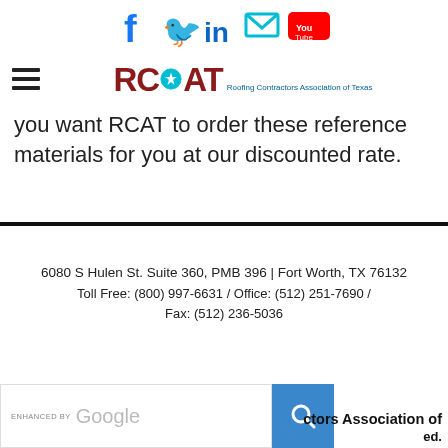[Figure (infographic): Social media icons row: Facebook, Twitter, LinkedIn, Email/Envelope, YouTube in blue/cyan colors]
[Figure (logo): RCAT - Roofing Contractors Association of Texas logo with hamburger menu icon on left]
you want RCAT to order these reference materials for you at our discounted rate.
6080 S Hulen St. Suite 360, PMB 396 | Fort Worth, TX 76132
Toll Free: (800) 997-6631 / Office: (512) 251-7690 / Fax: (512) 236-5036
[Figure (screenshot): ENHANCED BY Google search bar with blue search button]
ctors Association of Texas. All rights reserved.